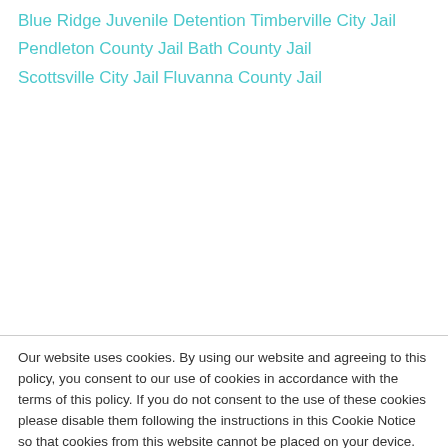Blue Ridge Juvenile Detention
Timberville City Jail
Pendleton County Jail
Bath County Jail
Scottsville City Jail
Fluvanna County Jail
Our website uses cookies. By using our website and agreeing to this policy, you consent to our use of cookies in accordance with the terms of this policy. If you do not consent to the use of these cookies please disable them following the instructions in this Cookie Notice so that cookies from this website cannot be placed on your device.